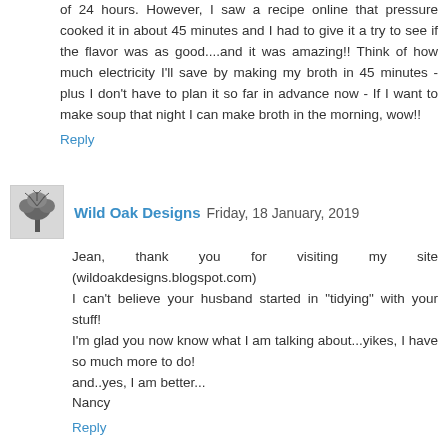of 24 hours. However, I saw a recipe online that pressure cooked it in about 45 minutes and I had to give it a try to see if the flavor was as good....and it was amazing!! Think of how much electricity I'll save by making my broth in 45 minutes - plus I don't have to plan it so far in advance now - If I want to make soup that night I can make broth in the morning, wow!!
Reply
Wild Oak Designs  Friday, 18 January, 2019
Jean, thank you for visiting my site (wildoakdesigns.blogspot.com)
I can't believe your husband started in "tidying" with your stuff!
I'm glad you now know what I am talking about...yikes, I have so much more to do!
and..yes, I am better...
Nancy
Reply